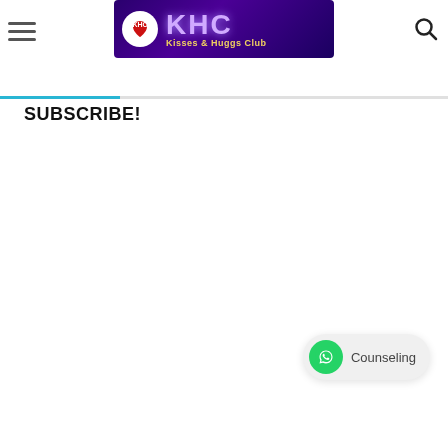[Figure (logo): KHC Kisses & Huggs Club logo banner with purple gradient background, circular emblem on left, and text 'KHC' in large purple letters with 'Kisses & Huggs Club' in yellow below]
[Figure (illustration): Hamburger menu icon (three horizontal lines) on the left side of the header]
[Figure (illustration): Search (magnifying glass) icon on the right side of the header]
SUBSCRIBE!
[Figure (illustration): WhatsApp counseling button in the lower right: green WhatsApp icon circle and 'Counseling' text on light grey pill-shaped background]